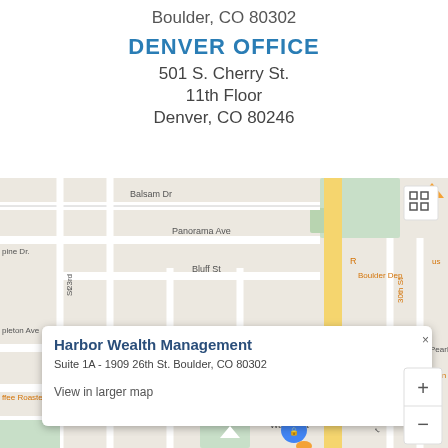Boulder, CO 80302
DENVER OFFICE
501 S. Cherry St.
11th Floor
Denver, CO 80246
[Figure (map): Google Maps screenshot showing Boulder, CO area with a red location pin and a popup callout reading 'Harbor Wealth Management, Suite 1A - 1909 26th St. Boulder, CO 80302, View in larger map'. Streets visible include Panorama Ave, Bluff St, Spruce St, Pearl St, Walnut St, 23rd St, 29th St, 30th St. Neighborhood label WHITTIER visible. REI store marker visible. Zoom controls and fullscreen button visible.]